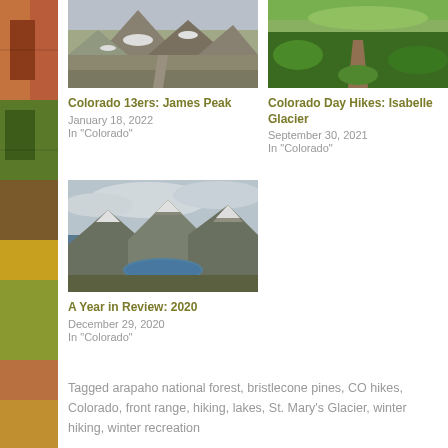[Figure (photo): Mountain trail with snow patches — James Peak]
Colorado 13ers: James Peak
January 18, 2022
In "Colorado"
[Figure (photo): Green alpine trail — Isabelle Glacier]
Colorado Day Hikes: Isabelle Glacier
September 30, 2021
In "Colorado"
[Figure (photo): Mountain peaks and alpine lake — A Year in Review 2020]
A Year in Review: 2020
December 29, 2020
In "Colorado"
Tagged arapaho national forest, bristlecone pines, CO hikes, Colorado, front range, hiking, lakes, St. Mary's Glacier, winter hiking, winter recreation